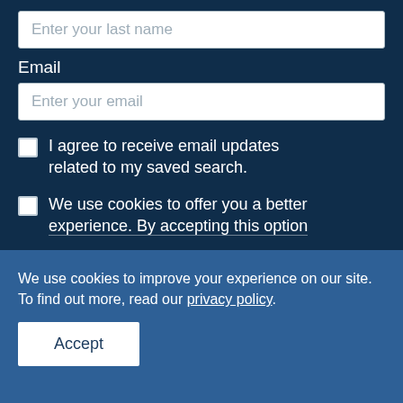Enter your last name
Email
Enter your email
I agree to receive email updates related to my saved search.
We use cookies to offer you a better experience. By accepting this option
We use cookies to improve your experience on our site. To find out more, read our privacy policy.
Accept